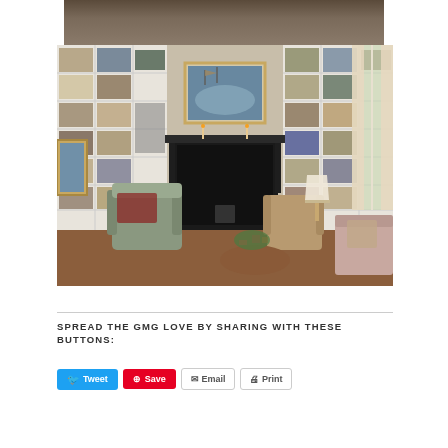[Figure (photo): Partial top view of a dimly lit ceiling or architectural detail, dark brown tones]
[Figure (photo): Interior living room with floor-to-ceiling white bookshelves on either side of a dark fireplace. A nautical painting hangs above the mantle. Two wingback chairs and a sofa are visible. Hardwood floors, a window with curtains on the right.]
SPREAD THE GMG LOVE BY SHARING WITH THESE BUTTONS:
[Figure (infographic): Row of social sharing buttons: Tweet (blue), Save (red/Pinterest), Email (outlined), Print (outlined)]